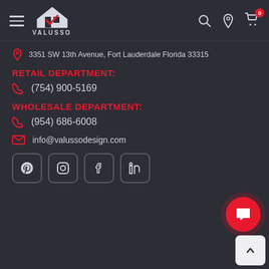VALUSSO - Navigation bar with hamburger menu, logo, search, location, and cart icons
3351 SW 13th Avenue, Fort Lauderdale Florida 33315
RETAIL DEPARTMENT:
(754) 900-5169
WHOLESALE DEPARTMENT:
(954) 686-6008
info@valussodesign.com
[Figure (other): Social media icons: Pinterest, Instagram, Facebook, LinkedIn in rounded square outlines]